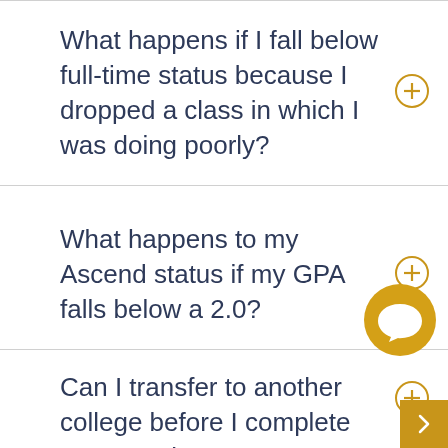What happens if I fall below full-time status because I dropped a class in which I was doing poorly?
What happens to my Ascend status if my GPA falls below a 2.0?
Can I transfer to another college before I complete my Associate Degree?